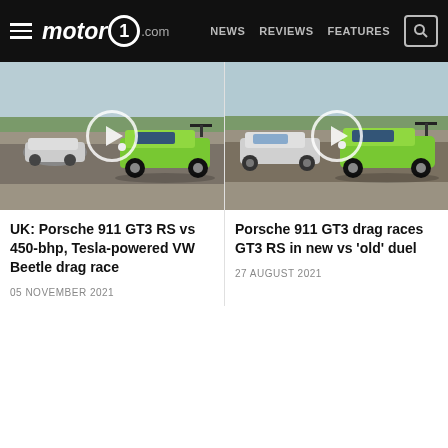motor1.com — NEWS  REVIEWS  FEATURES
[Figure (screenshot): Thumbnail video screenshot of Porsche 911 GT3 RS lime green car and white VW Beetle on drag strip airfield]
UK: Porsche 911 GT3 RS vs 450-bhp, Tesla-powered VW Beetle drag race
05 NOVEMBER 2021
[Figure (screenshot): Thumbnail video screenshot of white Porsche 911 GT3 and lime green Porsche 911 GT3 RS on track]
Porsche 911 GT3 drag races GT3 RS in new vs 'old' duel
27 AUGUST 2021